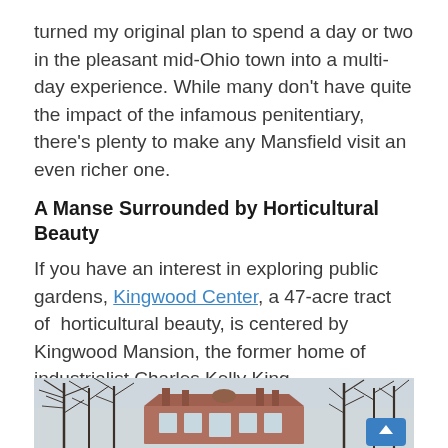turned my original plan to spend a day or two in the pleasant mid-Ohio town into a multi-day experience. While many don't have quite the impact of the infamous penitentiary, there's plenty to make any Mansfield visit an even richer one.
A Manse Surrounded by Horticultural Beauty
If you have an interest in exploring public gardens, Kingwood Center, a 47-acre tract of  horticultural beauty, is centered by Kingwood Mansion, the former home of industrialist Charles Kelly King.
[Figure (photo): Exterior photo of Kingwood Mansion in winter, a red-brick colonial revival building surrounded by bare deciduous trees, with chimneys visible against a grey-white sky. A blue scroll-to-top button appears in the bottom-right corner of the image.]